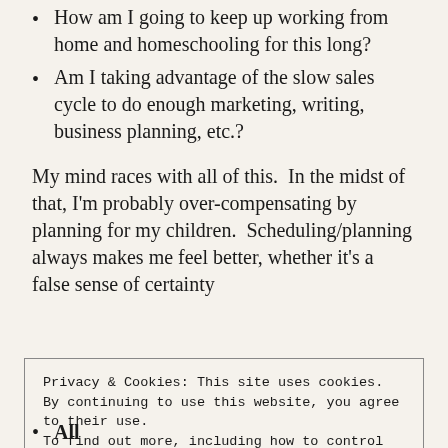How am I going to keep up working from home and homeschooling for this long?
Am I taking advantage of the slow sales cycle to do enough marketing, writing, business planning, etc.?
My mind races with all of this.  In the midst of that, I'm probably over-compensating by planning for my children.  Scheduling/planning always makes me feel better, whether it's a false sense of certainty
Privacy & Cookies: This site uses cookies. By continuing to use this website, you agree to their use. To find out more, including how to control cookies, see here: Cookie Policy
[Close and accept]
All